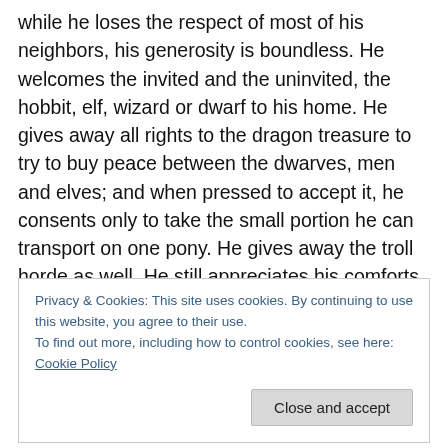while he loses the respect of most of his neighbors, his generosity is boundless. He welcomes the invited and the uninvited, the hobbit, elf, wizard or dwarf to his home. He gives away all rights to the dragon treasure to try to buy peace between the dwarves, men and elves; and when pressed to accept it, he consents only to take the small portion he can transport on one pony. He gives away the troll horde as well. He still appreciates his comforts, but his comforts no longer bind him.
Thorin, by contrast, is a tragic figure. His obsession with
Privacy & Cookies: This site uses cookies. By continuing to use this website, you agree to their use.
To find out more, including how to control cookies, see here: Cookie Policy